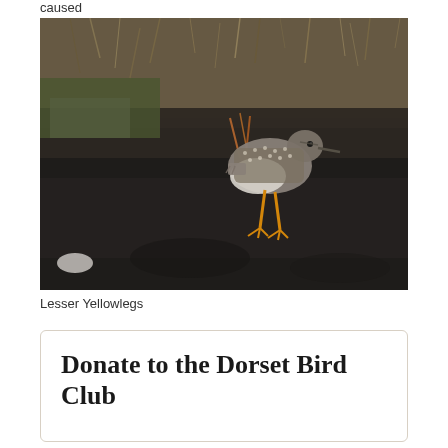caused
[Figure (photo): A Lesser Yellowlegs shorebird standing on dark muddy ground with dried grass in the background. The bird has spotted grey-brown plumage and distinctive yellow legs.]
Lesser Yellowlegs
Donate to the Dorset Bird Club